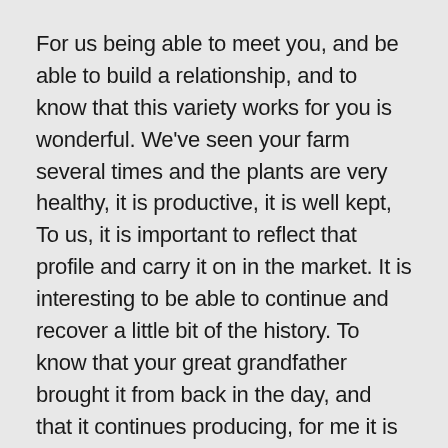For us being able to meet you, and be able to build a relationship, and to know that this variety works for you is wonderful. We've seen your farm several times and the plants are very healthy, it is productive, it is well kept, To us, it is important to reflect that profile and carry it on in the market. It is interesting to be able to continue and recover a little bit of the history. To know that your great grandfather brought it from back in the day, and that it continues producing, for me it is an important part of the specialty coffee and to maintain the story. This is the link to the ancestors.
Is there anything that you want the consumers or the roasters to know about your work, or about the relationship we built between Red Fox and